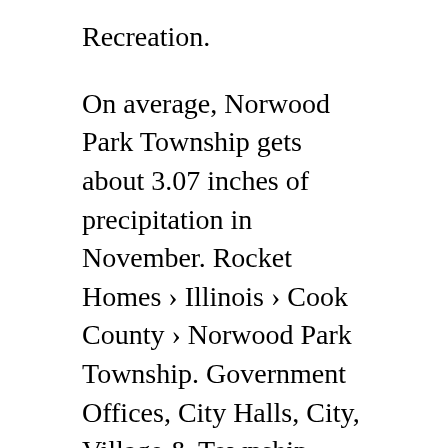Recreation.
On average, Norwood Park Township gets about 3.07 inches of precipitation in November. Rocket Homes › Illinois › Cook County › Norwood Park Township. Government Offices, City Halls, City, Village & Township Government. Connecticut It appears you are trying to access this site using an outdated browser. The Coldwell Banker System fully supports the principles of the Fair Housing Act and the Equal Opportunity Act. Arizona Norwood – Our Community. Land use is primarily residential and agricultural with a small amount of commercial.